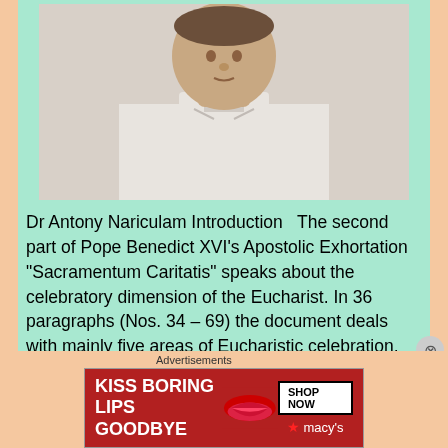[Figure (photo): Portrait photo of a priest or religious figure wearing a white clerical collar, cropped at the shoulders, light background]
Dr Antony Nariculam Introduction  The second part of Pope Benedict XVI's Apostolic Exhortation "Sacramentum Caritatis" speaks about the celebratory dimension of the Eucharist. In 36 paragraphs (Nos. 34 – 69) the document deals with mainly five areas of Eucharistic celebration. They are the Art of Celebration, the Structure of the
Advertisements
[Figure (other): Advertisement banner: KISS BORING LIPS GOODBYE with SHOP NOW button and macys logo on red background]